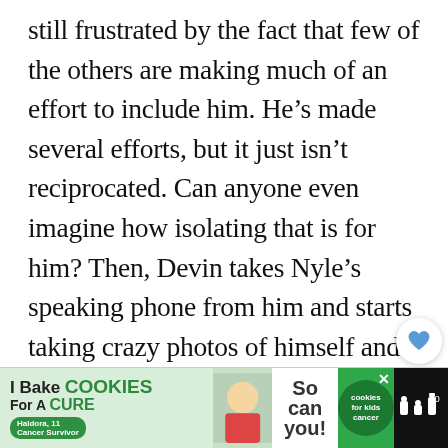still frustrated by the fact that few of the others are making much of an effort to include him. He's made several efforts, but it just isn't reciprocated. Can anyone even imagine how isolating that is for him? Then, Devin takes Nyle's speaking phone from him and starts taking crazy photos of himself and the others. He might as well have put a black bag over Nyle's head, because he just took away Nyle's last form of communication. To top it off, Devin doesn't even talk to Nyle au...
[Figure (other): Advertisement banner at bottom: 'I Bake COOKIES For A CURE' with Haldora, 11 Cancer Survivor text and cookies for kids cancer logo, 'So can you!' text]